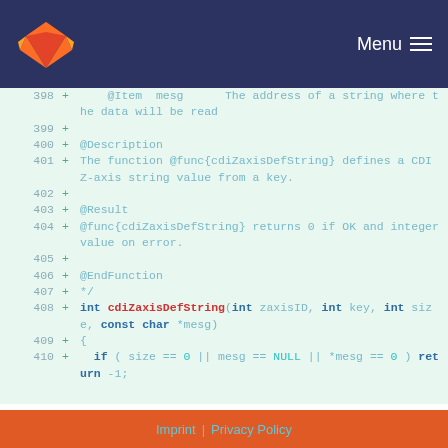GitLab — Menu
[Figure (screenshot): Code diff viewer showing lines 398-410 of a C source file with added lines (+) in green on a light green background. Lines show Doxygen-style comments and a function definition for cdiZaxisDefString.]
Imprint | Privacy Policy